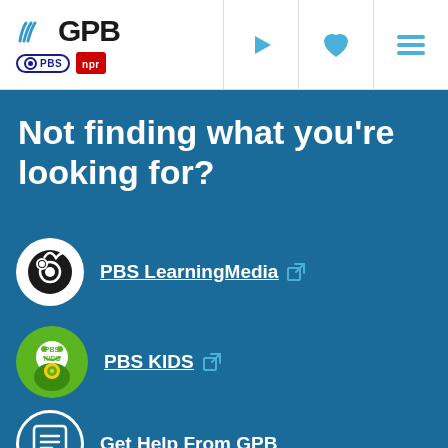[Figure (logo): GPB logo with PBS and NPR badges in white header navigation bar with play, heart, and menu icons]
Not finding what you're looking for?
PBS LearningMedia [external link]
PBS KIDS [external link]
Get Help From GPB